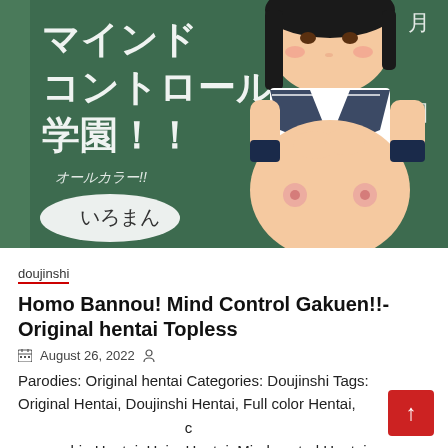[Figure (illustration): Manga/anime style illustration cover art showing a Japanese schoolgirl in sailor uniform in front of a green chalkboard with Japanese text (マインドコントロール学園!!) and text いろまん in a speech bubble. The image is the cover of a doujinshi publication.]
doujinshi
Homo Bannou! Mind Control Gakuen!!- Original hentai Topless
August 26, 2022
Parodies: Original hentai Categories: Doujinshi Tags: Original Hentai, Doujinshi Hentai, Full color Hentai, c censorship Hentai, Hairy Hentai, Mind control Hentai,